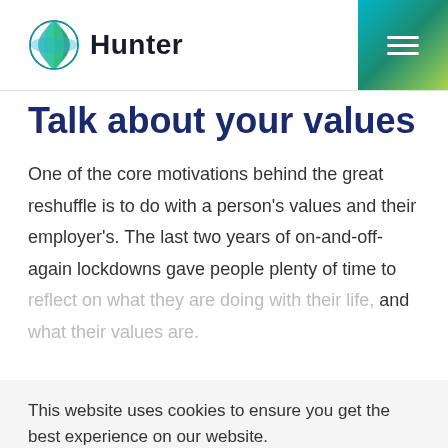[Figure (logo): Hunter company logo with globe icon and 'Hunter' text in dark navy]
Talk about your values
One of the core motivations behind the great reshuffle is to do with a person's values and their employer's. The last two years of on-and-off-again lockdowns gave people plenty of time to reflect on what they are doing with their life, and what their values are.
This website uses cookies to ensure you get the best experience on our website.
Privacy Policy
Unlike during the great resignation, people aren't looking for a whole new career path, they merely want to finish work each day knowing that their